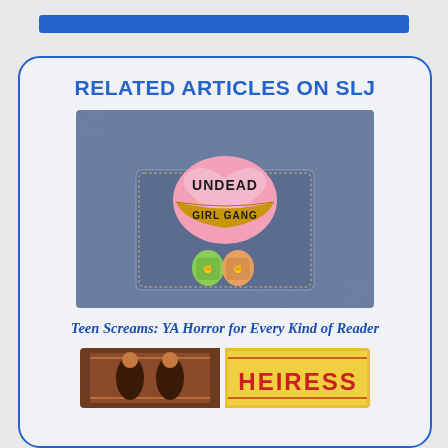[Figure (other): Blue horizontal bar at top of page (partial navigation element)]
RELATED ARTICLES ON SLJ
[Figure (photo): Photo of denim jacket pocket with enamel pins: a pink heart-shaped 'Undead Girl Gang' pin and two hands holding pins below it]
Teen Screams: YA Horror for Every Kind of Reader
[Figure (photo): Partial view of book covers at the bottom, including one that reads 'HEIRESS']